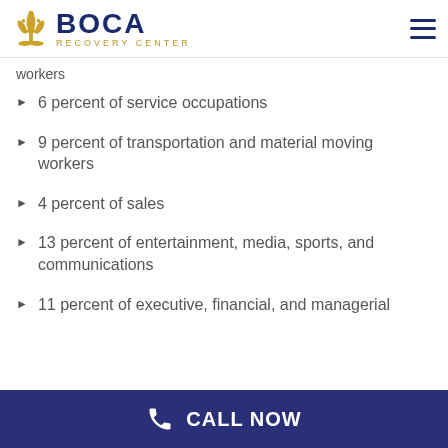Boca Recovery Center
workers
6 percent of service occupations
9 percent of transportation and material moving workers
4 percent of sales
13 percent of entertainment, media, sports, and communications
11 percent of executive, financial, and managerial
CALL NOW